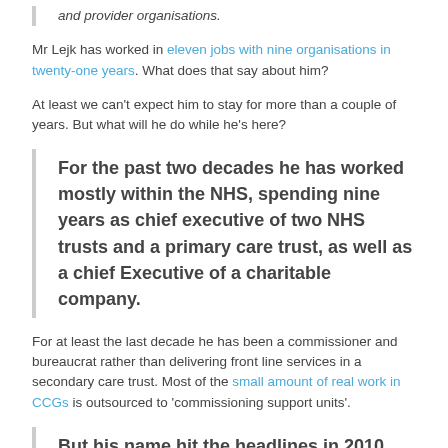and provider organisations.
Mr Lejk has worked in eleven jobs with nine organisations in twenty-one years. What does that say about him?
At least we can't expect him to stay for more than a couple of years. But what will he do while he's here?
For the past two decades he has worked mostly within the NHS, spending nine years as chief executive of two NHS trusts and a primary care trust, as well as a chief Executive of a charitable company.
For at least the last decade he has been a commissioner and bureaucrat rather than delivering front line services in a secondary care trust. Most of the small amount of real work in CCGs is outsourced to 'commissioning support units'.
But his name hit the headlines in 2010 when he was pulled in front of the government's health